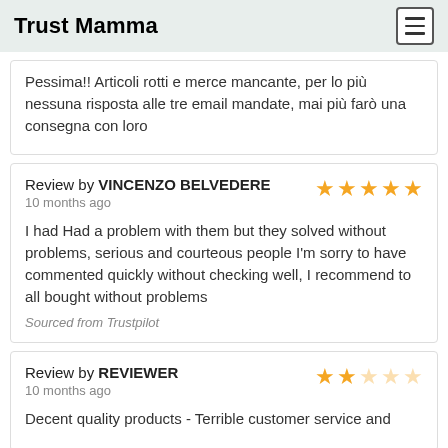Trust Mamma
Pessima!! Articoli rotti e merce mancante, per lo più nessuna risposta alle tre email mandate, mai più farò una consegna con loro
Review by VINCENZO BELVEDERE
10 months ago
I had Had a problem with them but they solved without problems, serious and courteous people I'm sorry to have commented quickly without checking well, I recommend to all bought without problems
Sourced from Trustpilot
Review by Reviewer
10 months ago
Decent quality products - Terrible customer service and